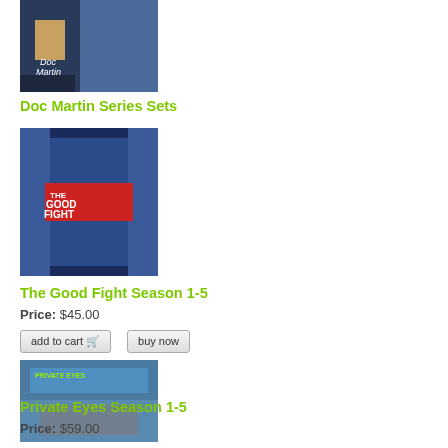[Figure (photo): Doc Martin Series DVD box set product image]
Doc Martin Series Sets
[Figure (photo): The Good Fight Season 1-5 DVD box set product image]
The Good Fight Season 1-5
Price: $45.00
[Figure (photo): Private Eyes Season 1-5 DVD box set product image]
Private Eyes Season 1-5
Price: $59.00